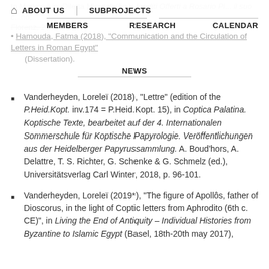to Markos, in: Diletta Minutoli (fig.); Inediti Offerti a Rosario Pi... il suo c...no, Florenz, 233-236.
Navigation: ABOUT US | SUBPROJECTS | MEMBERS | RESEARCH | CALENDAR | NEWS
Hamouda, Fatma (2018), "Communication and the Circulation of Letters in Roman Egypt" (Dissertation).
Vanderheyden, Loreleï (2018), "Lettre" (edition of the P.Heid.Kopt. inv.174 = P.Heid.Kopt. 15), in Coptica Palatina. Koptische Texte, bearbeitet auf der 4. Internationalen Sommerschule für Koptische Papyrologie. Veröffentlichungen aus der Heidelberger Papyrussammlung. A. Boud'hors, A. Delattre, T. S. Richter, G. Schenke & G. Schmelz (ed.), Universitätsverlag Carl Winter, 2018, p. 96-101.
Vanderheyden, Loreleï (2019*), "The figure of Apollôs, father of Dioscorus, in the light of Coptic letters from Aphrodito (6th c. CE)", in Living the End of Antiquity – Individual Histories from Byzantine to Islamic Egypt (Basel, 18th-20th may 2017),